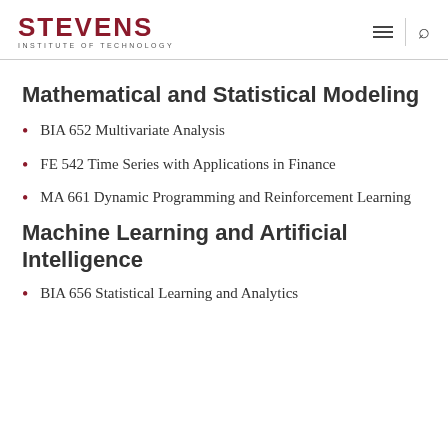STEVENS INSTITUTE OF TECHNOLOGY
Mathematical and Statistical Modeling
BIA 652 Multivariate Analysis
FE 542 Time Series with Applications in Finance
MA 661 Dynamic Programming and Reinforcement Learning
Machine Learning and Artificial Intelligence
BIA 656 Statistical Learning and Analytics